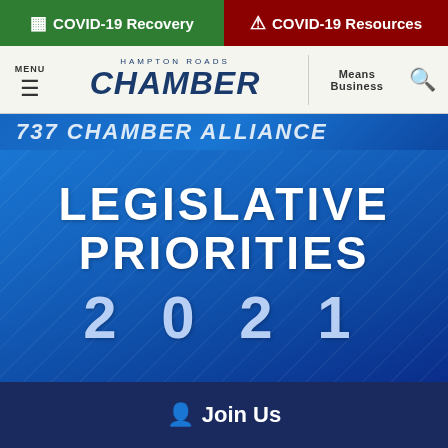COVID-19 Recovery | COVID-19 Resources
[Figure (screenshot): Hampton Roads Chamber navigation header with menu icon, HAMPTON ROADS CHAMBER logo, Means Business tagline, and search icon]
737 CHAMBER ALLIANCE
LEGISLATIVE PRIORITIES 2021
Join Us